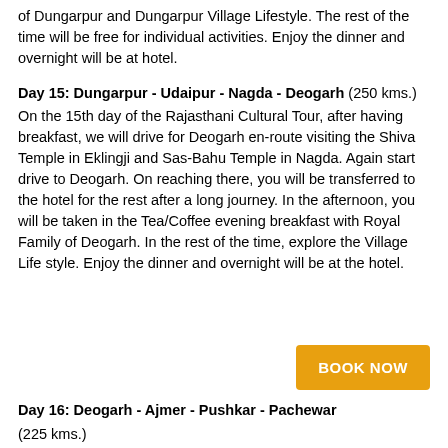of Dungarpur and Dungarpur Village Lifestyle. The rest of the time will be free for individual activities. Enjoy the dinner and overnight will be at hotel.
Day 15: Dungarpur - Udaipur - Nagda - Deogarh (250 kms.)
On the 15th day of the Rajasthani Cultural Tour, after having breakfast, we will drive for Deogarh en-route visiting the Shiva Temple in Eklingji and Sas-Bahu Temple in Nagda. Again start drive to Deogarh. On reaching there, you will be transferred to the hotel for the rest after a long journey. In the afternoon, you will be taken in the Tea/Coffee evening breakfast with Royal Family of Deogarh. In the rest of the time, explore the Village Life style. Enjoy the dinner and overnight will be at the hotel.
[Figure (other): BOOK NOW button in orange/yellow color]
Day 16: Deogarh - Ajmer - Pushkar - Pachewar
(225 kms.)